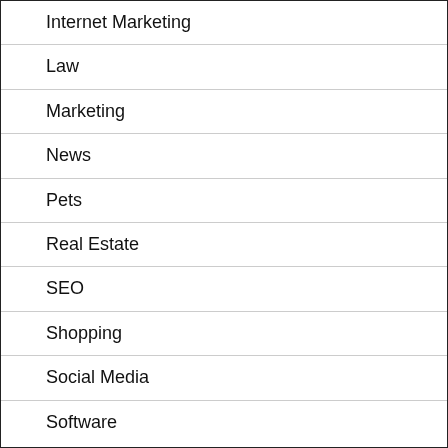Internet Marketing
Law
Marketing
News
Pets
Real Estate
SEO
Shopping
Social Media
Software